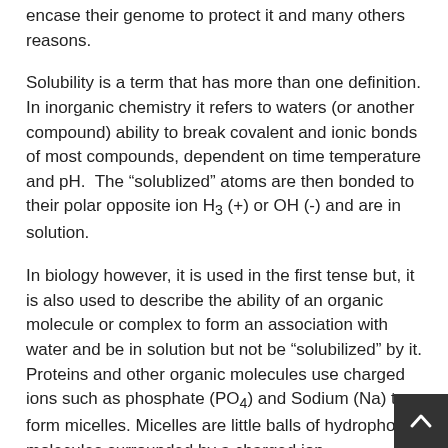encase their genome to protect it and many others reasons.
Solubility is a term that has more than one definition. In inorganic chemistry it refers to waters (or another compound) ability to break covalent and ionic bonds of most compounds, dependent on time temperature and pH.  The “solublized” atoms are then bonded to their polar opposite ion H3 (+) or OH (-) and are in solution.
In biology however, it is used in the first tense but, it is also used to describe the ability of an organic molecule or complex to form an association with water and be in solution but not be “solubilized” by it. Proteins and other organic molecules use charged ions such as phosphate (PO4) and Sodium (Na) to form micelles. Micelles are little balls of hydrophobic molecules surrounded by a charged ion.
Just like a cell's membrane bilayer. Sometimes micelles are formed by complexes of proteins surrounding a small molecule for transport through water.